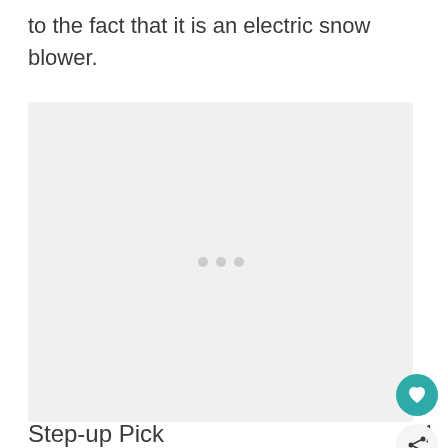to the fact that it is an electric snow blower.
[Figure (photo): Placeholder image area with light gray background, loading indicator dots in center]
Step-up Pick